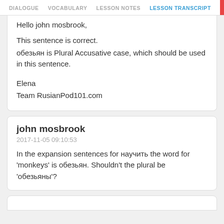DIALOGUE   VOCABULARY   LESSON NOTES   LESSON TRANSCRIPT
Hello john mosbrook,

This sentence is correct.
обезьян is Plural Accusative case, which should be used in this sentence.

Elena
Team RusianPod101.com
john mosbrook
2017-11-05 09:10:53
In the expansion sentences for научить the word for 'monkeys' is обезьян. Shouldn't the plural be 'обезьяны'?